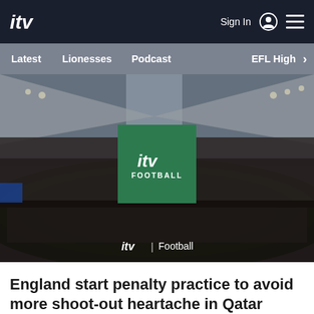itv | Sign In | menu
Latest | Lionesses | Podcast | EFL High >
[Figure (photo): Stadium (Wembley) aerial view filled with crowd, green pitch, with ITV Football green logo box overlay and 'itv | Football' label at bottom]
England start penalty practice to avoid more shoot-out heartache in Qatar